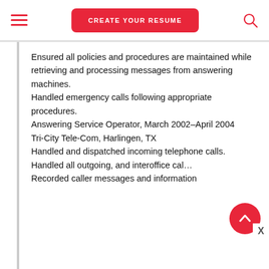CREATE YOUR RESUME
Ensured all policies and procedures are maintained while retrieving and processing messages from answering machines.
Handled emergency calls following appropriate procedures.
Answering Service Operator, March 2002–April 2004
Tri-City Tele-Com, Harlingen, TX
Handled and dispatched incoming telephone calls.
Handled all outgoing, and interoffice cal…
Recorded caller messages and information